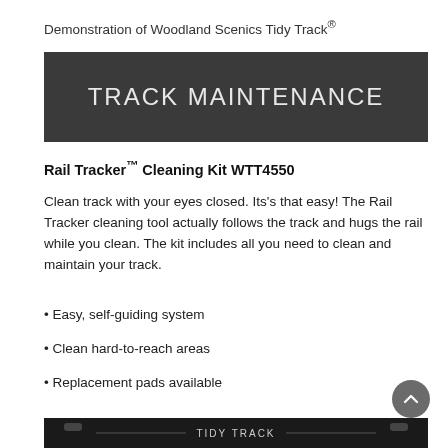Demonstration of Woodland Scenics Tidy Track®
[Figure (other): Dark gray banner with large light-colored text reading TRACK MAINTENANCE]
Rail Tracker™ Cleaning Kit WTT4550
Clean track with your eyes closed. Its's that easy! The Rail Tracker cleaning tool actually follows the track and hugs the rail while you clean. The kit includes all you need to clean and maintain your track.
• Easy, self-guiding system
• Clean hard-to-reach areas
• Replacement pads available
[Figure (photo): Bottom strip showing partial product packaging for Tidy Track]